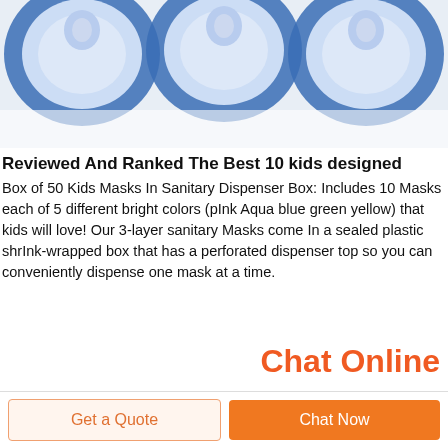[Figure (photo): Three blue-rimmed circular face masks (kids masks) viewed from above on a white background, showing the blue silicone seal rings.]
Reviewed And Ranked The Best 10 kids designed
Box of 50 Kids Masks In Sanitary Dispenser Box: Includes 10 Masks each of 5 different bright colors (pInk Aqua blue green yellow) that kids will love! Our 3-layer sanitary Masks come In a sealed plastic shrInk-wrapped box that has a perforated dispenser top so you can conveniently dispense one mask at a time.
Chat Online
Get a Quote
Chat Now